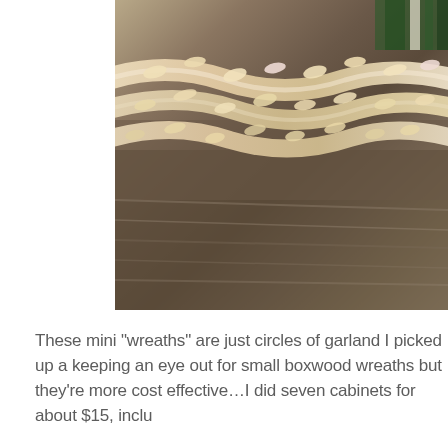[Figure (photo): Close-up photo of braided rope or woven garland with leaf-like straw/natural fiber elements on a textured grey surface, partially cropped at top]
These mini “wreaths” are just circles of garland I picked up a keeping an eye out for small boxwood wreaths but they’re more cost effective…I did seven cabinets for about $15, inclu
[Figure (photo): Partially visible photo with soft grey/white gradient tones, possibly a light-colored interior or surface, with a close button (x) overlay in the bottom right corner]